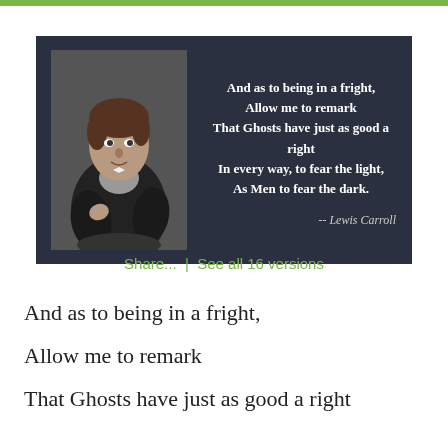[Figure (photo): Black and white photograph of Lewis Carroll (Charles Dodgson), a young man in Victorian dress sitting in a chair, with a dark background quote card overlay showing lines of poetry in white bold text and attribution '--Lewis Carroll']
Share...  |  See all 16 versions
And as to being in a fright,
Allow me to remark
That Ghosts have just as good a right